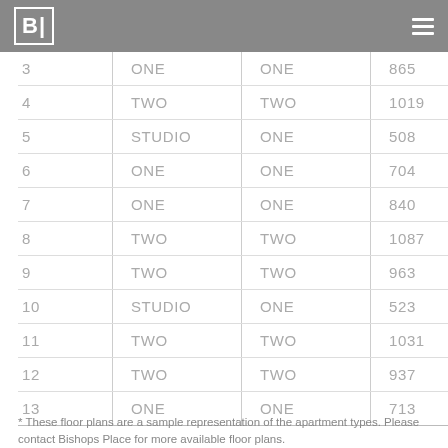B (logo) / hamburger menu
| 3 | ONE | ONE | 865 |
| 4 | TWO | TWO | 1019 |
| 5 | STUDIO | ONE | 508 |
| 6 | ONE | ONE | 704 |
| 7 | ONE | ONE | 840 |
| 8 | TWO | TWO | 1087 |
| 9 | TWO | TWO | 963 |
| 10 | STUDIO | ONE | 523 |
| 11 | TWO | TWO | 1031 |
| 12 | TWO | TWO | 937 |
| 13 | ONE | ONE | 713 |
* These floor plans are a sample representation of the apartment types. Please contact Bishops Place for more available floor plans.